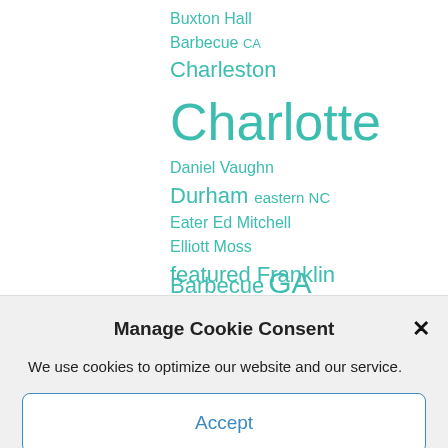Buxton Hall
Barbecue CA
Charleston
Charlotte
Daniel Vaughn
Durham eastern NC
Eater Ed Mitchell
Elliott Moss
featured Franklin
Barbecue GA
Manage Cookie Consent
We use cookies to optimize our website and our service.
Accept